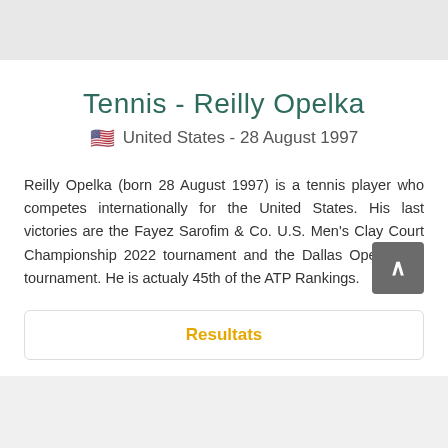Tennis - Reilly Opelka
🇺🇸 United States - 28 August 1997
Reilly Opelka (born 28 August 1997) is a tennis player who competes internationally for the United States. His last victories are the Fayez Sarofim & Co. U.S. Men's Clay Court Championship 2022 tournament and the Dallas Open 2022 tournament. He is actualy 45th of the ATP Rankings.
Resultats